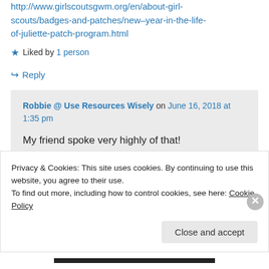http://www.girlscoutsgwm.org/en/about-girl-scouts/badges-and-patches/new–year-in-the-life-of-juliette-patch-program.html
★ Liked by 1 person
↪ Reply
Robbie @ Use Resources Wisely on June 16, 2018 at 1:35 pm
My friend spoke very highly of that!
Privacy & Cookies: This site uses cookies. By continuing to use this website, you agree to their use.
To find out more, including how to control cookies, see here: Cookie Policy